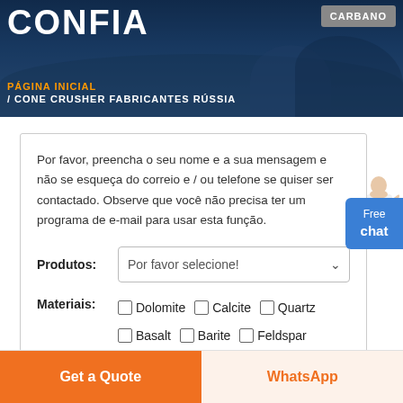CONFIA / CONE CRUSHER FABRICANTES RÚSSIA
PÁGINA INICIAL
/ CONE CRUSHER FABRICANTES RÚSSIA
Por favor, preencha o seu nome e a sua mensagem e não se esqueça do correio e / ou telefone se quiser ser contactado. Observe que você não precisa ter um programa de e-mail para usar esta função.
Produtos: Por favor selecione!
Materiais: □ Dolomite □ Calcite □ Quartz □ Basalt □ Barite □ Feldspar
Get a Quote
WhatsApp